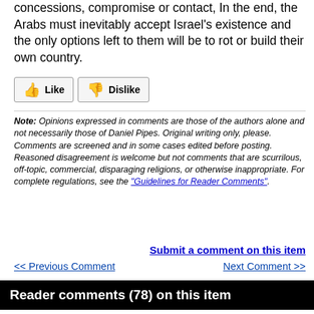concessions, compromise or contact, In the end, the Arabs must inevitably accept Israel's existence and the only options left to them will be to rot or build their own country.
[Figure (other): Like and Dislike buttons with thumbs up and thumbs down icons]
Note: Opinions expressed in comments are those of the authors alone and not necessarily those of Daniel Pipes. Original writing only, please. Comments are screened and in some cases edited before posting. Reasoned disagreement is welcome but not comments that are scurrilous, off-topic, commercial, disparaging religions, or otherwise inappropriate. For complete regulations, see the "Guidelines for Reader Comments".
Submit a comment on this item
<< Previous Comment    Next Comment >>
Reader comments (78) on this item
| Title | Commenter | Date |
| --- | --- | --- |
| Former 'unreliable B'tselem propagandist' steps down from | Rita V | Aug 10, 2022 |